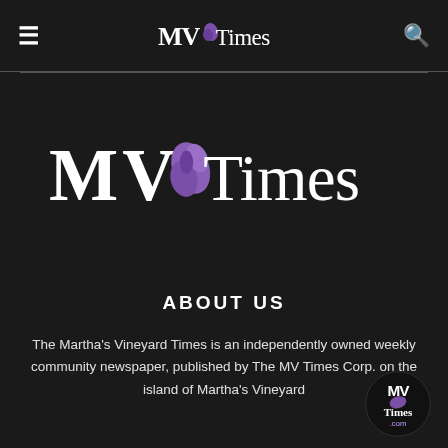MV Times
[Figure (logo): MV Times large logo with purple island silhouette graphic between MV and Times text]
ABOUT US
The Martha's Vineyard Times is an independently owned weekly community newspaper, published by The MV Times Corp. on the island of Martha's Vineyard
[Figure (logo): MV Times circular badge logo with MVTimes.com text]